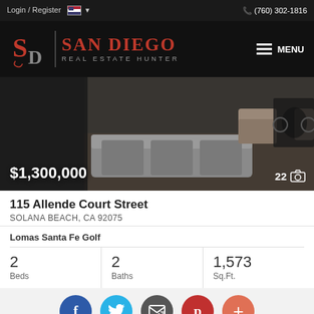Login / Register  (760) 302-1816
[Figure (logo): San Diego Real Estate Hunter logo with SD monogram and red text on black background]
[Figure (photo): Interior living room photo showing sofas and chairs near fireplace, property priced at $1,300,000 with 22 photos]
115 Allende Court Street
SOLANA BEACH, CA 92075
Lomas Santa Fe Golf
| Beds | Baths | Sq.Ft. |
| --- | --- | --- |
| 2 | 2 | 1,573 |
[Figure (infographic): Social share buttons: Facebook, Twitter, Email, Pinterest, Plus]